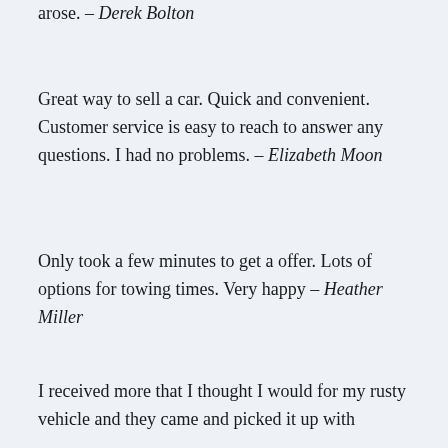arose. – Derek Bolton
Great way to sell a car. Quick and convenient. Customer service is easy to reach to answer any questions. I had no problems. – Elizabeth Moon
Only took a few minutes to get a offer. Lots of options for towing times. Very happy – Heather Miller
I received more that I thought I would for my rusty vehicle and they came and picked it up with